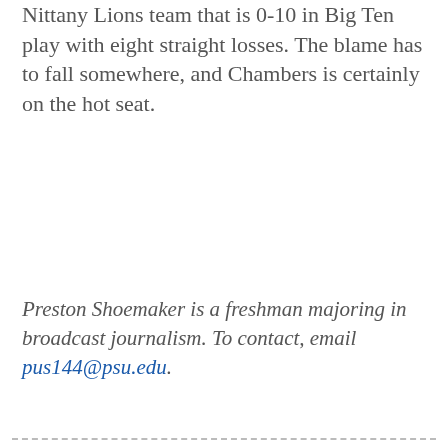Nittany Lions team that is 0-10 in Big Ten play with eight straight losses. The blame has to fall somewhere, and Chambers is certainly on the hot seat.
Preston Shoemaker is a freshman majoring in broadcast journalism. To contact, email pus144@psu.edu.